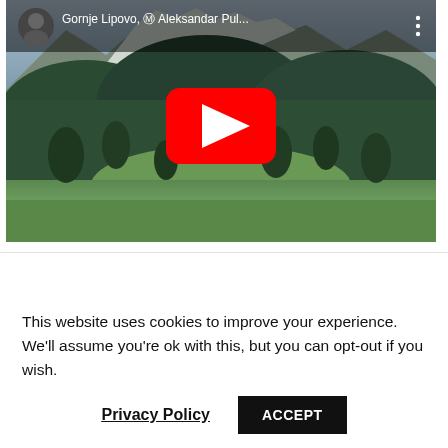[Figure (screenshot): YouTube video thumbnail showing mountain landscape with forest valley. Title reads 'Gornje Lipovo, Ⓜ Aleksandar Pul...' with a channel avatar icon and three-dot menu. Large red YouTube play button centered on the image.]
Overview
Property ID: 0006
0006
Land plot
This website uses cookies to improve your experience. We'll assume you're ok with this, but you can opt-out if you wish.
Privacy Policy
ACCEPT